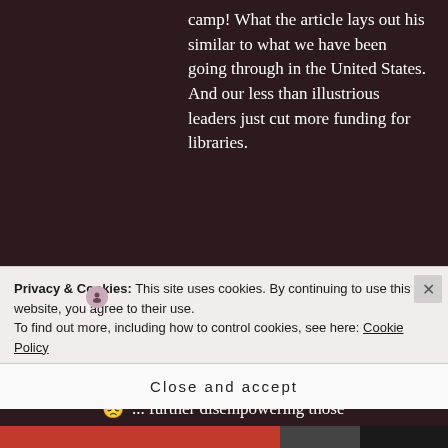camp! What the article lays out his similar to what we have been going through in the United States. And our less than illustrious leaders just cut more funding for libraries.
SU LESLIE says: April 28, 2019 at 5:36 pm
[Figure (photo): Circular avatar photo of Su Leslie, a woman with curly hair, against a dark background. A small person icon badge appears at the top-left of the avatar circle.]
😞 ... further disempowering those
Privacy & Cookies: This site uses cookies. By continuing to use this website, you agree to their use.
To find out more, including how to control cookies, see here: Cookie Policy
Close and accept